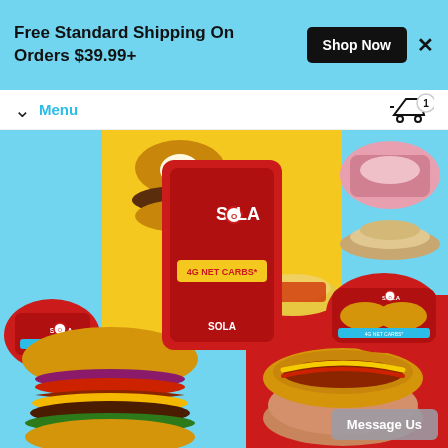Free Standard Shipping On Orders $39.99+
Shop Now
Menu
[Figure (screenshot): Sola brand food products website screenshot showing various low-carb bread, buns, granola, and pasta products with food photography including a hamburger and hot dog. Products displayed on colorful yellow, red, and blue background sections.]
Message Us